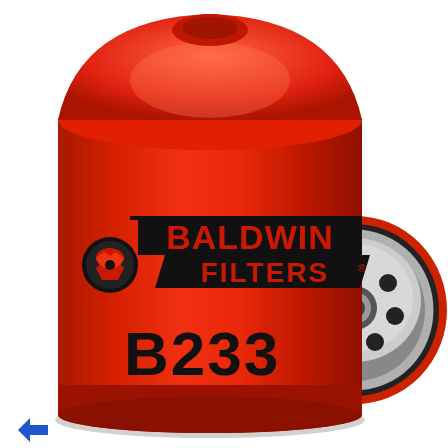[Figure (photo): Product photo of a Baldwin Filters B233 spin-on oil filter (red cylindrical canister with black BALDWIN FILTERS logo and B233 part number) shown upright from the front-left, with a second filter lying on its side behind-right showing the metal base plate with multiple inlet holes and center outlet thread.]